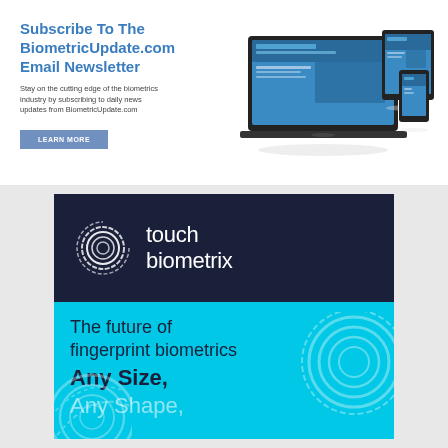Subscribe To The BiometricUpdate.com Email Newsletter
Stay on the cutting edge of the biometrics industry by subscribing to daily news updates from BiometricUpdate.com
LEARN MORE
[Figure (photo): Laptop, tablet, and smartphone displaying BiometricUpdate.com website]
[Figure (logo): Touch Biometrix advertisement - dark navy top with fingerprint ring logo and brand name, cyan bottom with text: The future of fingerprint biometrics, Any Size, Any Shape,]